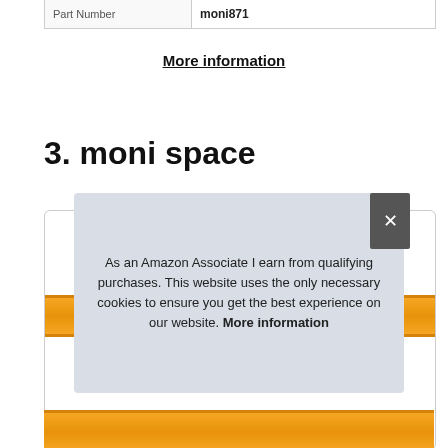| Part Number | moni871 |
| --- | --- |
| Part Number | moni871 |
More information
3. moni space
[Figure (screenshot): Card box with orange banner and product image partially visible]
As an Amazon Associate I earn from qualifying purchases. This website uses the only necessary cookies to ensure you get the best experience on our website. More information